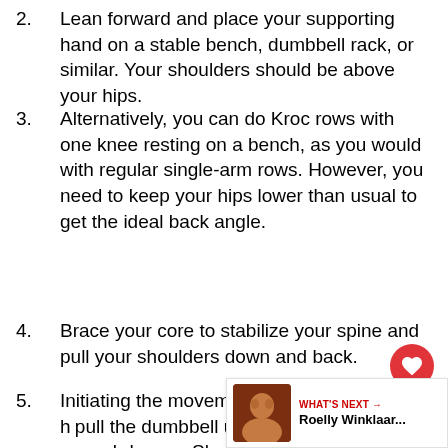2. Lean forward and place your supporting hand on a stable bench, dumbbell rack, or similar. Your shoulders should be above your hips.
3. Alternatively, you can do Kroc rows with one knee resting on a bench, as you would with regular single-arm rows. However, you need to keep your hips lower than usual to get the ideal back angle.
4. Brace your core to stabilize your spine and pull your shoulders down and back.
5. Initiating the movement with your legs and hips, pull the dumbbell up and into the side of your abdomen. Shrug your shoulder back to maximally contract your upper back.